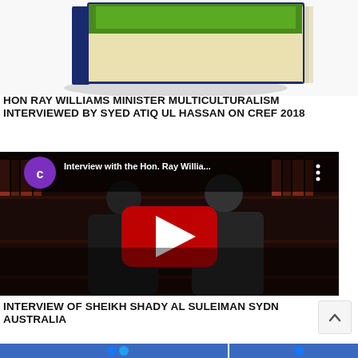[Figure (photo): Book with green and dark blue cover, standing upright, partially visible at top of page]
HON RAY WILLIAMS MINISTER MULTICULTURALISM INTERVIEWED BY SYED ATIQ UL HASSAN ON CREF 2018
[Figure (screenshot): YouTube video thumbnail showing two men in suits in a dark library setting with YouTube play button overlay. Title shows 'Interview with the Hon. Ray Willia...']
INTERVIEW OF SHEIKH SHADY AL SULEIMAN SYDN AUSTRALIA